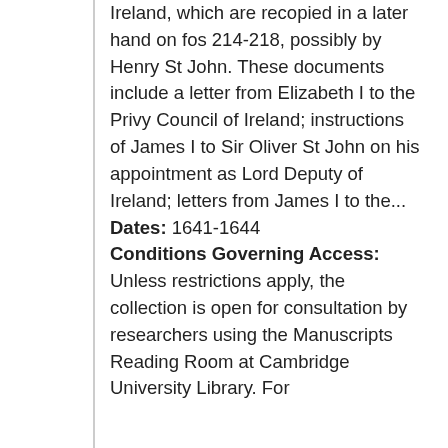Ireland, which are recopied in a later hand on fos 214-218, possibly by Henry St John. These documents include a letter from Elizabeth I to the Privy Council of Ireland; instructions of James I to Sir Oliver St John on his appointment as Lord Deputy of Ireland; letters from James I to the...
Dates: 1641-1644
Conditions Governing Access: Unless restrictions apply, the collection is open for consultation by researchers using the Manuscripts Reading Room at Cambridge University Library. For